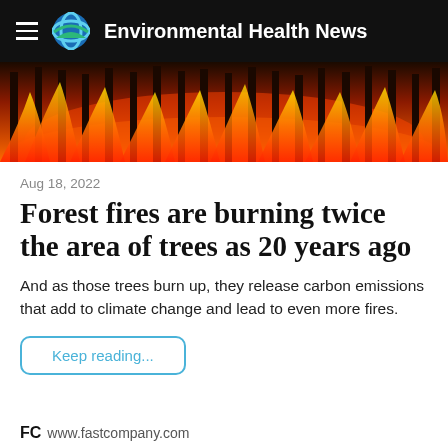Environmental Health News
[Figure (photo): Forest fire with tall trees engulfed in bright orange and red flames against a dark smoky background]
Aug 18, 2022
Forest fires are burning twice the area of trees as 20 years ago
And as those trees burn up, they release carbon emissions that add to climate change and lead to even more fires.
Keep reading...
FC www.fastcompany.com